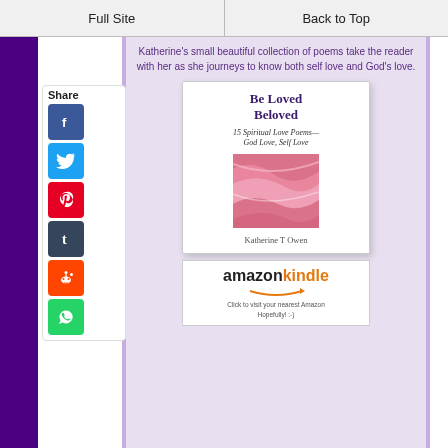Full Site | Back to Top
Katherine's small beautiful collection of poems take the reader with her as she journeys to know both self love and God's love.
[Figure (illustration): Book cover for 'Be Loved Beloved: 15 Spiritual Love Poems—God Love, Self Love' by Katherine T Owen. White card with title text and a pink/rose abstract painting image.]
[Figure (logo): Amazon Kindle logo with orange arrow swoosh and caption 'Click to visit your nearest Amazon Hopefully! :)']